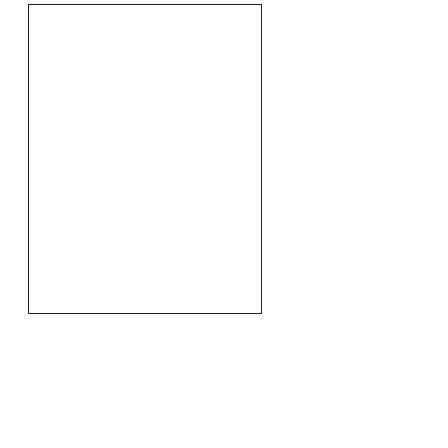[Figure (other): White rectangle with black border, representing a book or movie cover image placeholder]
Ho
Dram
Fred $10,
The publi film, (and or th
Su
crime
"Thr while portr Sterl